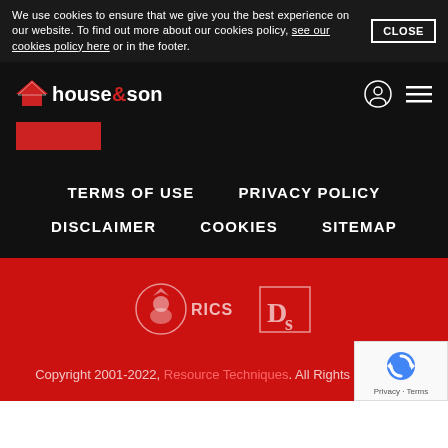We use cookies to ensure that we give you the best experience on our website. To find out more about our cookies policy, see our cookies policy here or in the footer.
house & son
TERMS OF USE
PRIVACY POLICY
DISCLAIMER
COOKIES
SITEMAP
[Figure (logo): RICS lion logo and Ds logo on red background]
Copyright 2001-2022, Resource Techniques. All Rights Reserved.